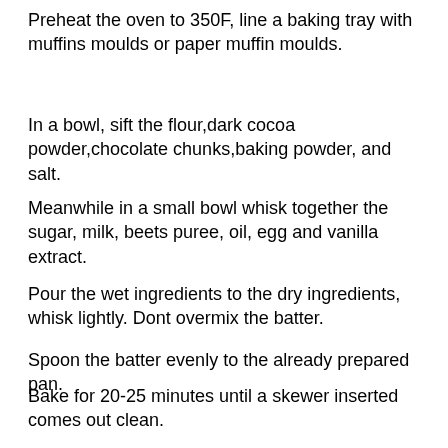Preheat the oven to 350F, line a baking tray with muffins moulds or paper muffin moulds.
In a bowl, sift the flour,dark cocoa powder,chocolate chunks,baking powder, and salt.
Meanwhile in a small bowl whisk together the sugar, milk, beets puree, oil, egg and vanilla extract.
Pour the wet ingredients to the dry ingredients, whisk lightly. Dont overmix the batter.
Spoon the batter evenly to the already prepared pan.
Bake for 20-25 minutes until a skewer inserted comes out clean.
[Figure (photo): Two chocolate muffins in paper muffin cups on a light green surface, photographed close-up against a dark background.]